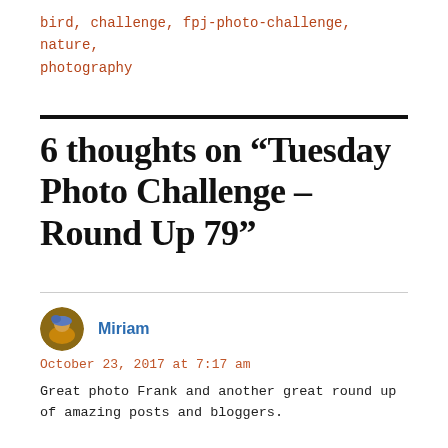bird, challenge, fpj-photo-challenge, nature, photography
6 thoughts on “Tuesday Photo Challenge – Round Up 79”
Miriam
October 23, 2017 at 7:17 am
Great photo Frank and another great round up of amazing posts and bloggers.